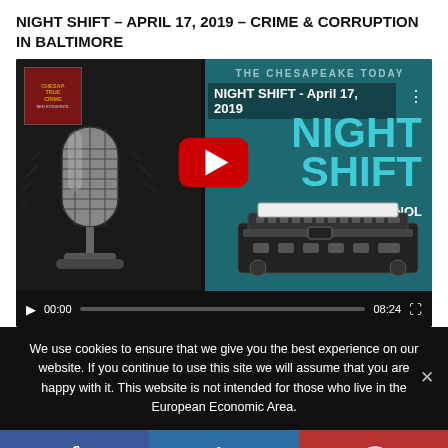NIGHT SHIFT – APRIL 17, 2019 – CRIME & CORRUPTION IN BALTIMORE
[Figure (screenshot): YouTube video thumbnail and player for Night Shift April 17 2019 episode showing a microphone illustration on dark left panel, teal right panel with NIGHT SHIFT text, play button overlay, and video controls showing 00:00 / 08:24]
We use cookies to ensure that we give you the best experience on our website. If you continue to use this site we will assume that you are happy with it. This website is not intended for those who live in the European Economic Area.
[Figure (infographic): Social sharing bar with Facebook (blue), LinkedIn (blue), and Parler (red) icons]